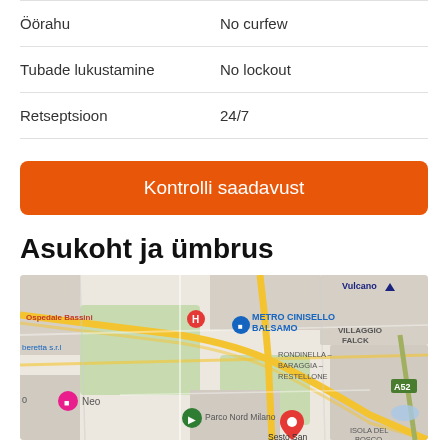| Öörahu | No curfew |
| Tubade lukustamine | No lockout |
| Retseptsioon | 24/7 |
Kontrolli saadavust
Asukoht ja ümbrus
[Figure (map): Google Maps showing location near Sesto San Giovanni, Milan area. Visible labels include: Ospedale Bassini, METRO CINISELLO BALSAMO, RONDINELLA - BARAGGIA - RESTELLONE, VILLAGGIO FALCK, Vulcano, beretta s.r.l, Neo, Parco Nord Milano, Sesto San (Giovanni), ISOLA DEL BOSCO, A52. Multiple map markers visible including a red hotel marker, blue Metro marker, pink Neo marker, green tree marker, and red location pin.]